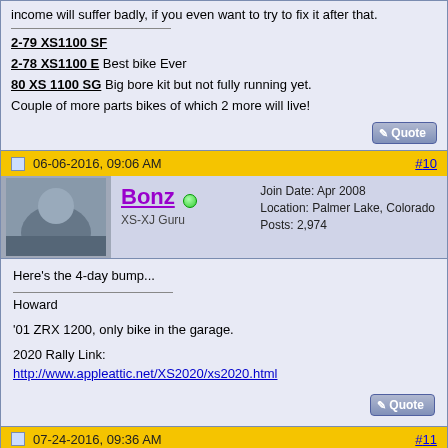income will suffer badly, if you even want to try to fix it after that.
2-79 XS1100 SF
2-78 XS1100 E Best bike Ever
80 XS 1100 SG Big bore kit but not fully running yet.
Couple of more parts bikes of which 2 more will live!
06-06-2016, 09:06 AM   #10
Bonz
XS-XJ Guru
Join Date: Apr 2008
Location: Palmer Lake, Colorado
Posts: 2,974
Here's the 4-day bump...

Howard

'01 ZRX 1200, only bike in the garage.

2020 Rally Link:
http://www.appleattic.net/XS2020/xs2020.html
07-24-2016, 09:36 AM   #11
AggiesaurusRex
XSive
Join Date: Apr 2016
Location: Orlando, FL.
Posts: 57